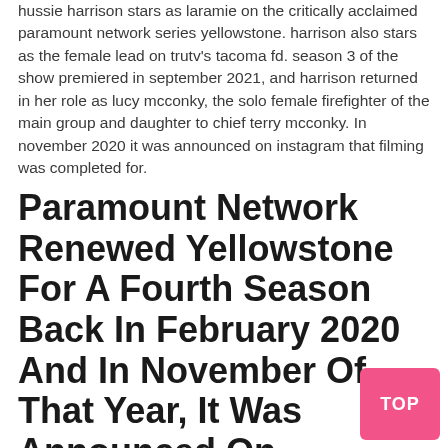hussie harrison stars as laramie on the critically acclaimed paramount network series yellowstone. harrison also stars as the female lead on trutv's tacoma fd. season 3 of the show premiered in september 2021, and harrison returned in her role as lucy mcconky, the solo female firefighter of the main group and daughter to chief terry mcconky. In november 2020 it was announced on instagram that filming was completed for.
Paramount Network Renewed Yellowstone For A Fourth Season Back In February 2020 And In November Of That Year, It Was Announced On Instagram That Filming Was Completed For The